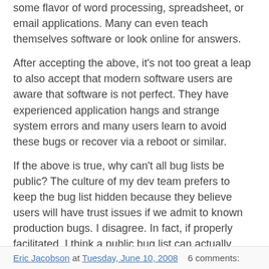some flavor of word processing, spreadsheet, or email applications. Many can even teach themselves software or look online for answers.
After accepting the above, it's not too great a leap to also accept that modern software users are aware that software is not perfect. They have experienced application hangs and strange system errors and many users learn to avoid these bugs or recover via a reboot or similar.
If the above is true, why can't all bug lists be public? The culture of my dev team prefers to keep the bug list hidden because they believe users will have trust issues if we admit to known production bugs. I disagree. In fact, if properly facilitated, I think a public bug list can actually build user trust. Users are smart enough to see the value in having their software earlier, even at the expense of known bugs.
What do you think?
Eric Jacobson at Tuesday, June 10, 2008   6 comments: